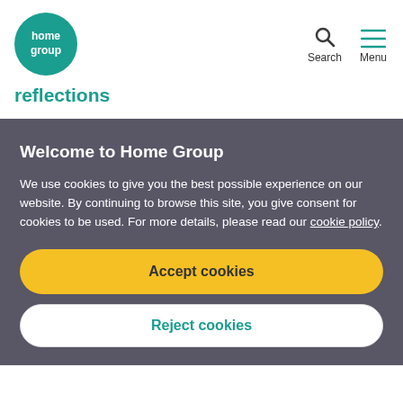[Figure (logo): Home Group circular teal logo with white text reading 'home group']
[Figure (other): Search icon (magnifying glass) and Menu icon (hamburger lines) in the top right navigation]
reflections
Welcome to Home Group
We use cookies to give you the best possible experience on our website. By continuing to browse this site, you give consent for cookies to be used. For more details, please read our cookie policy.
Accept cookies
Reject cookies